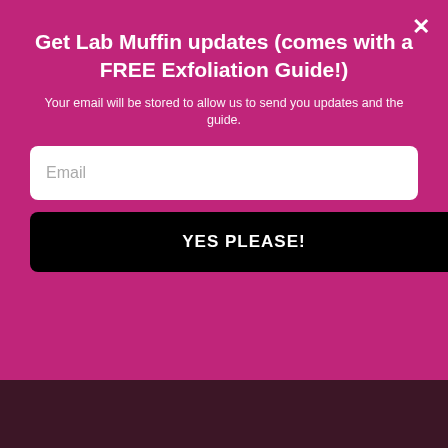Get Lab Muffin updates (comes with a FREE Exfoliation Guide!)
Your email will be stored to allow us to send you updates and the guide.
Email
YES PLEASE!
INFLAMMATION
Inflammation isn't good for your skin – it's linked to aging, acne, rosacea and all sorts of other issues. And in in vitro studies, alcohol seems to be able to cause inflammatory markers to be released, although this doesn't always seem to be the case. But does this carry through to topical